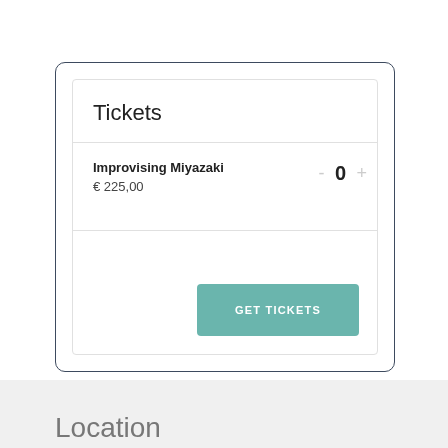Tickets
Improvising Miyazaki
€ 225,00
0
GET TICKETS
Location